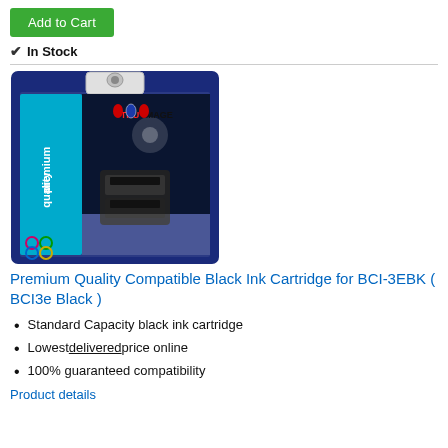Add to Cart
✔ In Stock
[Figure (photo): Product photo of a Premium Quality Compatible Black Ink Cartridge for BCI-3EBK (BCI3e Black) in a blue retail blister package with 'premium quality' and 'TRU IMAGE' branding.]
Premium Quality Compatible Black Ink Cartridge for BCI-3EBK ( BCI3e Black )
Standard Capacity black ink cartridge
Lowest delivered price online
100% guaranteed compatibility
Product details